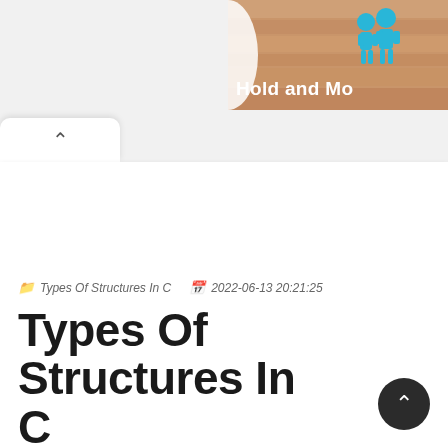[Figure (screenshot): Partial banner image in top-right showing wooden/sandy texture background with blue cartoon figures and bold white text reading 'Hold and Mo...' (truncated)]
Types Of Structures In C   2022-06-13 20:21:25
Types Of Structures In C...